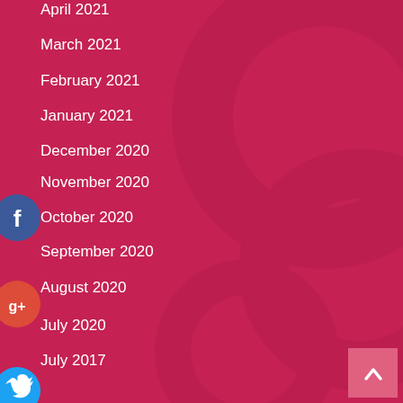April 2021
March 2021
February 2021
January 2021
December 2020
November 2020
October 2020
September 2020
August 2020
July 2020
July 2017
[Figure (infographic): Social sharing icons: Facebook (blue circle), Google+ (red circle), Twitter (blue circle), Add/Plus (dark blue circle)]
[Figure (other): Back to top button with upward arrow, pink square in bottom right corner]